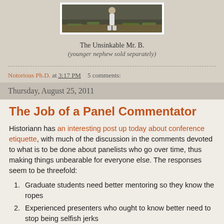[Figure (photo): Photograph of a person walking outdoors, white border frame]
The Unsinkable Mr. B.
(younger nephew sold separately)
Notorious Ph.D. at 3:17 PM   5 comments:
Thursday, August 25, 2011
The Job of a Panel Commentator
Historiann has an interesting post up today about conference etiquette, with much of the discussion in the comments devoted to what is to be done about panelists who go over time, thus making things unbearable for everyone else. The responses seem to be threefold:
Graduate students need better mentoring so they know the ropes
Experienced presenters who ought to know better need to stop being selfish jerks